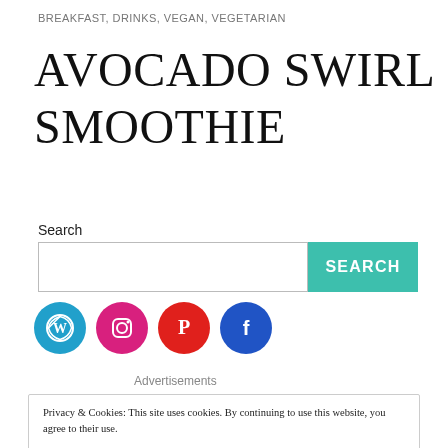BREAKFAST, DRINKS, VEGAN, VEGETARIAN
AVOCADO SWIRL SMOOTHIE
Search
[Figure (other): Search input field with teal SEARCH button]
[Figure (other): Social media icons: WordPress (blue), Instagram (pink), Pinterest (red), Facebook (blue)]
Advertisements
Privacy & Cookies: This site uses cookies. By continuing to use this website, you agree to their use. To find out more, including how to control cookies, see here: Cookie Policy
Close and accept